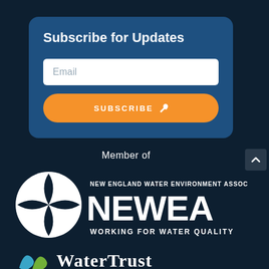Subscribe for Updates
Email
SUBSCRIBE
Member of
[Figure (logo): NEWEA - New England Water Environment Association logo. White circular star/diamond symbol on left, large white NEWEA text, 'NEW ENGLAND WATER ENVIRONMENT ASSOCIATION' above, 'WORKING FOR WATER QUALITY' below, all on dark navy background.]
[Figure (logo): WaterTrust logo - blue and green swirling water drop icon with 'WaterTrust' text in mixed serif font, partially visible at bottom of page.]